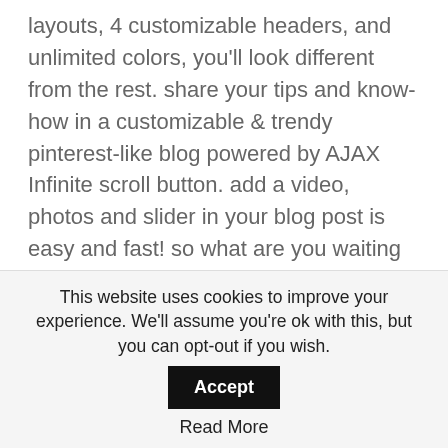layouts, 4 customizable headers, and unlimited colors, you'll look different from the rest. share your tips and know-how in a customizable & trendy pinterest-like blog powered by AJAX Infinite scroll button. add a video, photos and slider in your blog post is easy and fast! so what are you waiting for? be different, be fashionable, be LABOMBA!
Legenda – Responsive Multi-Purpose WordPress Theme
[Figure (other): Broken image placeholder link labeled 'WooCommerce Themes' on a light grey background]
Download   Live Demo
This website uses cookies to improve your experience. We'll assume you're ok with this, but you can opt-out if you wish.
Accept
Read More